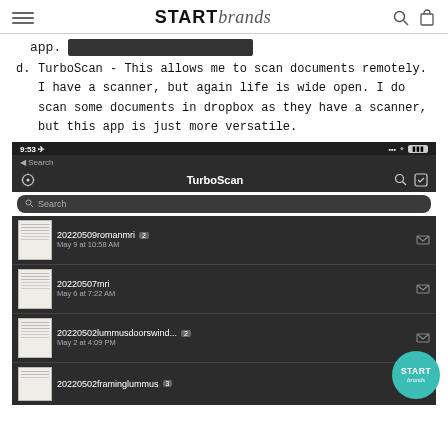STARTbrands
app.
d. TurboScan - This allows me to scan documents remotely. I have a scanner, but again life is wide open. I do scan some documents in dropbox as they have a scanner, but this app is just more versatile.
[Figure (screenshot): Screenshot of TurboScan app showing a list of scanned documents: 20220509romanmri (May 9 at 10:58 AM), 20220507mri (May 6 at 7:22 AM), 20220502lummusdoorswind... (May 2 at 4:09 PM), 20220502framinglummus]